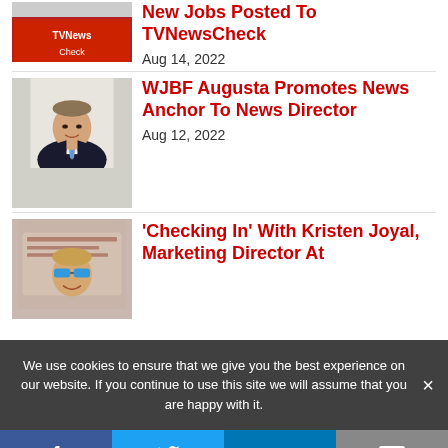New Jobs Posted To TVNewsCheck
Aug 14, 2022
[Figure (photo): TVNewsCheck logo/banner thumbnail]
WJBF Augusta Promotes News Anchor To News Director
Aug 12, 2022
[Figure (photo): Headshot of a man in a dark suit and blue tie]
'Checking In' With Kristen Joyal, Marketing Director At
[Figure (photo): Person wearing sunglasses outdoors]
We use cookies to ensure that we give you the best experience on our website. If you continue to use this site we will assume that you are happy with it.